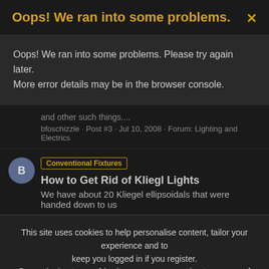Oops! We ran into some problems.
Oops! We ran into some problems. Please try again later. More error details may be in the browser console.
and other such things....
bfoschizzle · Post #3 · Jul 10, 2008 · Forum: Lighting and Electrics
Conventional Fixtures How to Get Rid of Kliegl Lights
We have about 20 Kliegel ellipsoidals that were handed down to us
This site uses cookies to help personalise content, tailor your experience and to keep you logged in if you register. By continuing to use this site, you are consenting to our use of cookies.
✓ Accept   Learn more...
and Electrics
Only a month late...
I dont have time for one....